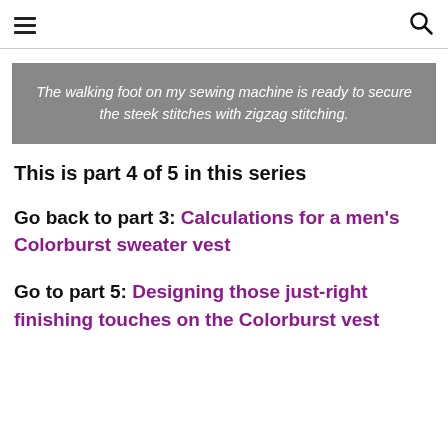≡  🔍
The walking foot on my sewing machine is ready to secure the steek stitches with zigzag stitching.
This is part 4 of 5 in this series
Go back to part 3: Calculations for a men's Colorburst sweater vest
Go to part 5: Designing those just-right finishing touches on the Colorburst vest